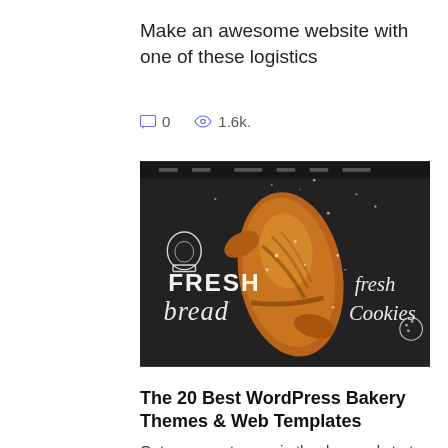Make an awesome website with one of these logistics
0   1.6k.
[Figure (photo): A croissant on a dark chalkboard background with hand-lettered text reading 'FRESH bread' and 'fresh Cookies', resembling a bakery website screenshot.]
The 20 Best WordPress Bakery Themes & Web Templates
Get more customers in the door and start selling online.